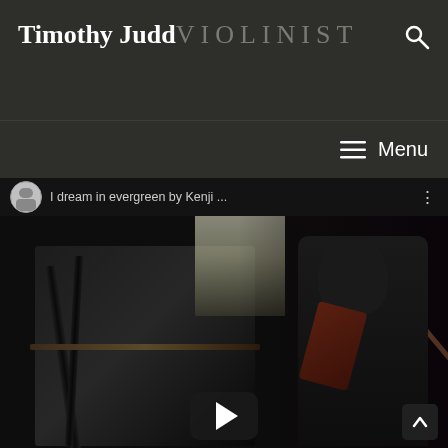Timothy Judd VIOLINIST
Menu
[Figure (screenshot): Video thumbnail showing a violinist performing near a grand piano in a dark room. The YouTube-style video player shows a title bar with avatar and text 'I dream in evergreen by Kenji...' at the top, a large dark scene with a musician playing violin, and a play button at the bottom center. A scroll-up arrow button appears at bottom right.]